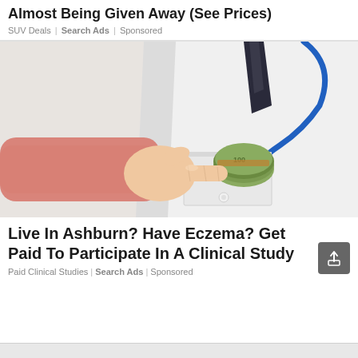Almost Being Given Away (See Prices)
SUV Deals | Search Ads | Sponsored
[Figure (photo): Person in pink sleeve reaching into a doctor's white coat pocket to grab a roll of US $100 bills; stethoscope visible in background]
Live In Ashburn? Have Eczema? Get Paid To Participate In A Clinical Study
Paid Clinical Studies | Search Ads | Sponsored